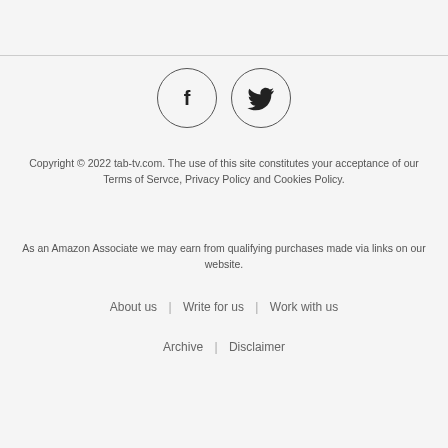[Figure (illustration): Two circular social media icon buttons: Facebook (f) and Twitter (bird) with circular borders]
Copyright © 2022 tab-tv.com. The use of this site constitutes your acceptance of our Terms of Servce, Privacy Policy and Cookies Policy.
As an Amazon Associate we may earn from qualifying purchases made via links on our website.
About us  |  Write for us  |  Work with us
Archive  |  Disclaimer